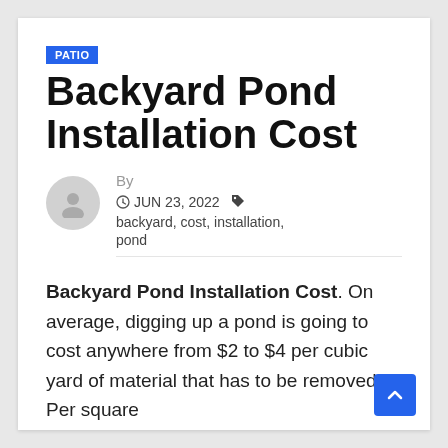PATIO
Backyard Pond Installation Cost
By  JUN 23, 2022  backyard, cost, installation, pond
Backyard Pond Installation Cost. On average, digging up a pond is going to cost anywhere from $2 to $4 per cubic yard of material that has to be removed. Per square